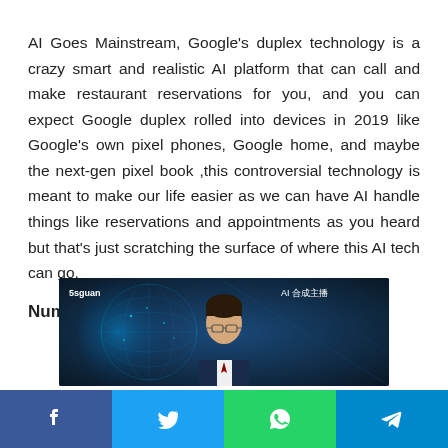AI Goes Mainstream, Google's duplex technology is a crazy smart and realistic AI platform that can call and make restaurant reservations for you, and you can expect Google duplex rolled into devices in 2019 like Google's own pixel phones, Google home, and maybe the next-gen pixel book ,this controversial technology is meant to make our life easier as we can have AI handle things like reservations and appointments as you heard but that's just scratching the surface of where this AI tech can go.
Number 8
[Figure (screenshot): Screenshot of an AI news anchor broadcast with Chinese text '5sguan' on the left and 'AI 合成主播' (AI Synthesized Anchor) on the right, showing a male AI-generated news anchor in a suit against a dark blue digital globe background.]